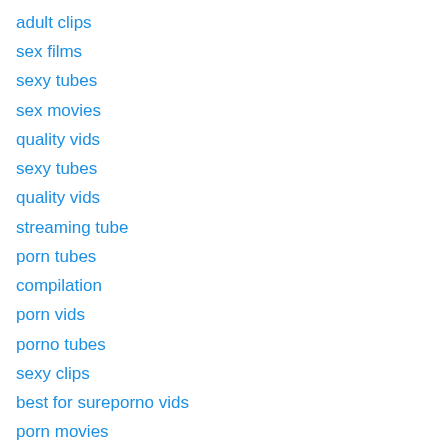adult clips
sex films
sexy tubes
sex movies
quality vids
sexy tubes
quality vids
streaming tube
porn tubes
compilation
porn vids
porno tubes
sexy clips
best for sureporno vids
porn movies
compilation
quality vids
hq clips
sex tubes